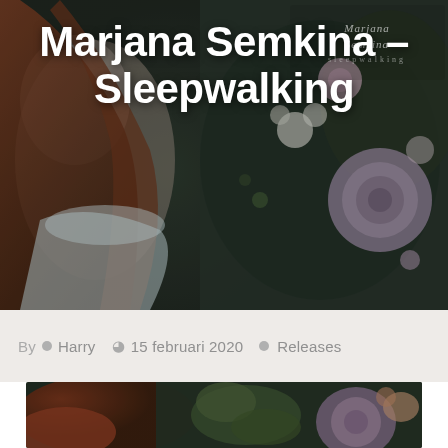[Figure (photo): Album cover / hero image showing a woman with long auburn hair wearing a light blue off-shoulder dress, surrounded by dark floral arrangements. The Marjana Semkina Sleepwalking logo/text is visible in the upper right.]
Marjana Semkina – Sleepwalking
By  Harry  © 15 februari 2020  Releases
[Figure (photo): Second photo showing a person with red/auburn hair among dark green and purple floral arrangements including roses and hydrangeas.]